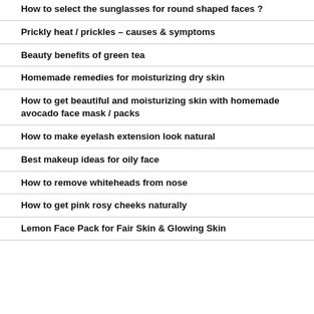How to select the sunglasses for round shaped faces ?
Prickly heat / prickles – causes & symptoms
Beauty benefits of green tea
Homemade remedies for moisturizing dry skin
How to get beautiful and moisturizing skin with homemade avocado face mask / packs
How to make eyelash extension look natural
Best makeup ideas for oily face
How to remove whiteheads from nose
How to get pink rosy cheeks naturally
Lemon Face Pack for Fair Skin & Glowing Skin